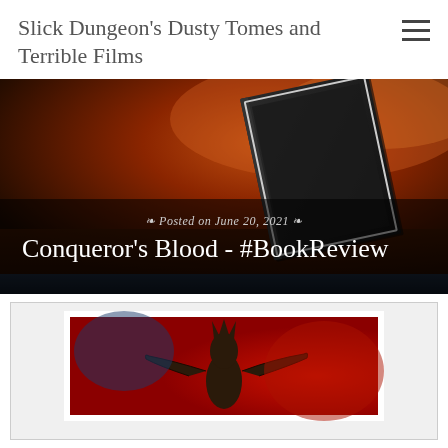Slick Dungeon's Dusty Tomes and Terrible Films
[Figure (illustration): Hero banner image showing a dark fantasy book cover against a dramatic red-orange cloudy sky background. Overlaid text shows posted date and article title.]
Posted on June 20, 2021
Conqueror's Blood - #BookReview
[Figure (illustration): Book cover art showing a dark fantasy creature/monster figure with outstretched arms against a red and dark blue background, framed with white border.]